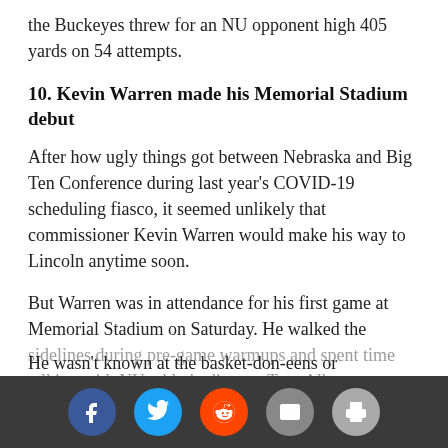the Buckeyes threw for an NU opponent high 405 yards on 54 attempts.
10. Kevin Warren made his Memorial Stadium debut
After how ugly things got between Nebraska and Big Ten Conference during last year's COVID-19 scheduling fiasco, it seemed unlikely that commissioner Kevin Warren would make his way to Lincoln anytime soon.
But Warren was in attendance for his first game at Memorial Stadium on Saturday. He walked the sidelines during pre-game warmups and spent time talking with NU athletic director Trev Alberts.
Warren also sat with University of Nebraska-Lincoln chancellor Ronnie Green during the game. He wasn't known at the basket-don-eens or